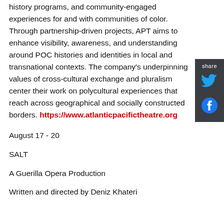history programs, and community-engaged experiences for and with communities of color. Through partnership-driven projects, APT aims to enhance visibility, awareness, and understanding around POC histories and identities in local and transnational contexts. The company's underpinning values of cross-cultural exchange and pluralism center their work on polycultural experiences that reach across geographical and socially constructed borders. https://www.atlanticpacifictheatre.org
August 17 - 20
SALT
A Guerilla Opera Production
Written and directed by Deniz Khateri